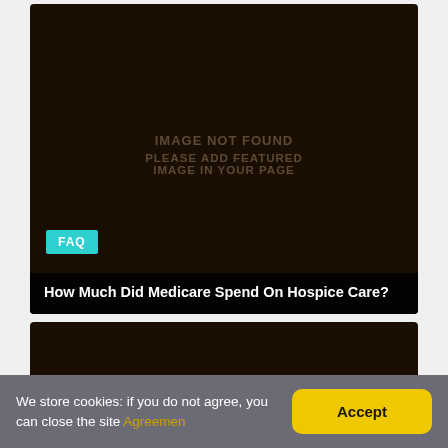[Figure (other): Dark brown/black image placeholder with text 'IMAGE NOT FOUND / PLEASE ADD FEATURED IMAGE IN YOUR PAGE']
FAQ
How Much Did Medicare Spend On Hospice Care?
[Figure (other): Dark brown/black image card, partially visible]
We store cookies: if you do not agree, you can close the site Agreemen
Accept